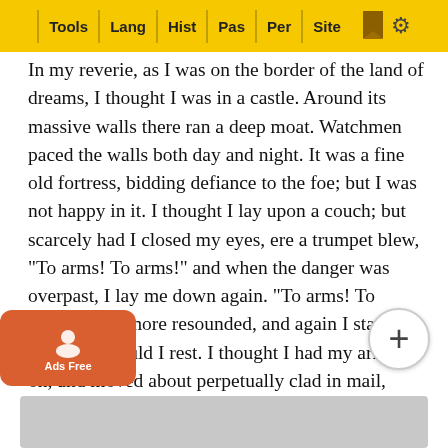Tools | Lang | Hist | Pas | Per | Site
In my reverie, as I was on the border of the land of dreams, I thought I was in a castle. Around its massive walls there ran a deep moat. Watchmen paced the walls both day and night. It was a fine old fortress, bidding defiance to the foe; but I was not happy in it. I thought I lay upon a couch; but scarcely had I closed my eyes, ere a trumpet blew, "To arms! To arms!" and when the danger was overpast, I lay me down again. "To arms! To arms!" once more resounded, and again I started up. Never could I rest. I thought I had my armour on, and moved about perpetually clad in mail, rushing each hour to the castle top, aroused by some fresh alarm. At one time a foe was coming from the west; at another from the east. I thought I had a treasure somewhere down in some deep part of the castle, and all my care was to guard it. I dreaded, I trembled lest it should be taken from me. I av thought I would not live in such a tower as that for all its grandeur. It was the castle of discontent, the castle of ambit To arms!